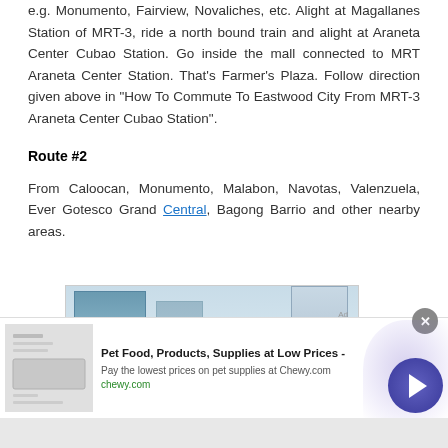e.g. Monumento, Fairview, Novaliches, etc. Alight at Magallanes Station of MRT-3, ride a north bound train and alight at Araneta Center Cubao Station. Go inside the mall connected to MRT Araneta Center Station. That's Farmer's Plaza. Follow direction given above in "How To Commute To Eastwood City From MRT-3 Araneta Center Cubao Station".
Route #2
From Caloocan, Monumento, Malabon, Navotas, Valenzuela, Ever Gotesco Grand Central, Bagong Barrio and other nearby areas.
[Figure (photo): Urban cityscape photo showing glass buildings, an elevated bridge/overpass structure painted green, and city infrastructure with towers in the background]
Pet Food, Products, Supplies at Low Prices - Pay the lowest prices on pet supplies at Chewy.com chewy.com